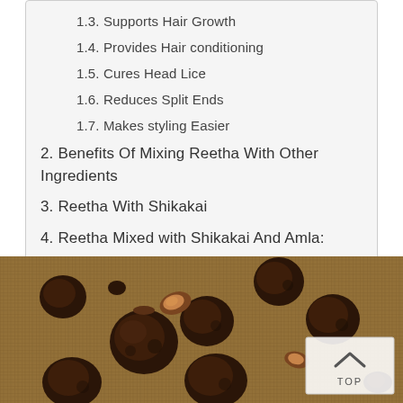1.3. Supports Hair Growth
1.4. Provides Hair conditioning
1.5. Cures Head Lice
1.6. Reduces Split Ends
1.7. Makes styling Easier
2. Benefits Of Mixing Reetha With Other Ingredients
3. Reetha With Shikakai
4. Reetha Mixed with Shikakai And Amla:
5. Visit Us at:
[Figure (photo): Photograph of dark brown dried reetha (soapnut) fruits scattered on a burlap/jute fabric background. The nuts are round and wrinkled with a dark chocolate-brown color. A 'TOP' navigation button is visible in the bottom-right corner of the image.]